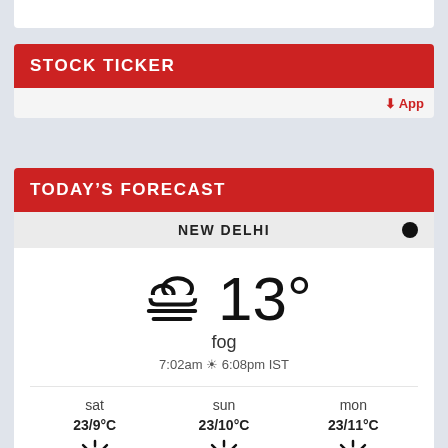STOCK TICKER
↓ App
TODAY'S FORECAST
NEW DELHI
[Figure (other): Weather widget showing fog icon with 13° temperature, condition 'fog', sunrise 7:02am and sunset 6:08pm IST, and 3-day forecast for sat (23/9°C sunny), sun (23/10°C sunny), mon (23/11°C sunny)]
Weather forecast New Delhi, India ▶